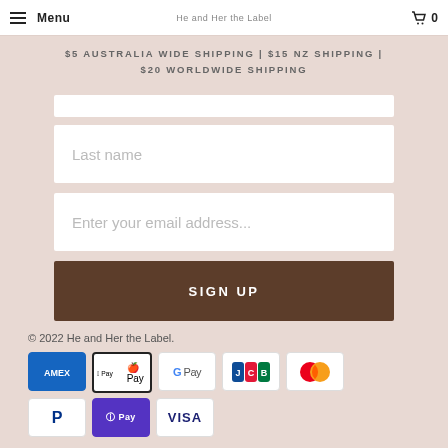Menu | He and Her the Label | 0
$5 AUSTRALIA WIDE SHIPPING | $15 NZ SHIPPING | $20 WORLDWIDE SHIPPING
[Figure (screenshot): Web form with Last name input field, Enter your email address input field, and SIGN UP button]
© 2022 He and Her the Label.
[Figure (infographic): Payment icons: American Express, Apple Pay, Google Pay, JCB, Mastercard, PayPal, Shop Pay, Visa]